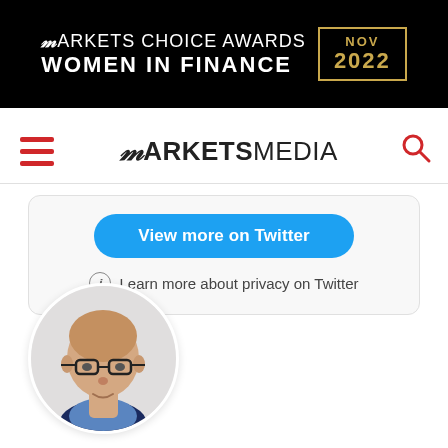[Figure (logo): Markets Choice Awards Women in Finance NOV 2022 banner on black background with gold border date box]
[Figure (logo): MarketsMedia navigation bar logo with red hamburger menu and red search icon]
View more on Twitter
Learn more about privacy on Twitter
[Figure (photo): Circular profile photo of a bald man wearing glasses and a dark jacket with blue shirt]